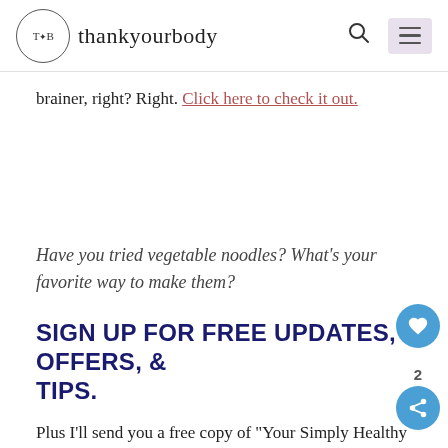TYB thankyourbody
brainer, right? Right. Click here to check it out.
Have you tried vegetable noodles? What's your favorite way to make them?
SIGN UP FOR FREE UPDATES, OFFERS, & TIPS.
Plus I'll send you a free copy of "Your Simply Healthy Handbook." It's your #1 resource to make healthy living easy.